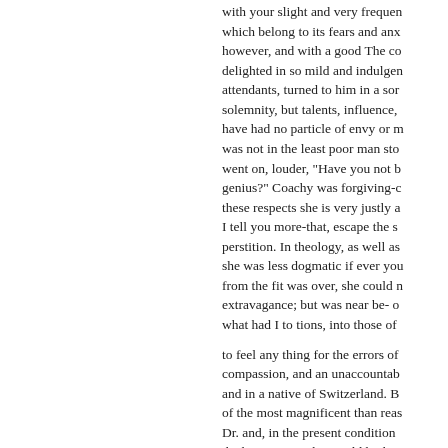with your slight and very frequen which belong to its fears and anx however, and with a good The co delighted in so mild and indulgen attendants, turned to him in a sor solemnity, but talents, influence, have had no particle of envy or m was not in the least poor man sto went on, louder, "Have you not b genius?" Coachy was forgiving-c these respects she is very justly a I tell you more-that, escape the s perstition. In theology, as well as she was less dogmatic if ever you from the fit was over, she could n extravagance; but was near be- o what had I to tions, into those of
to feel any thing for the errors of compassion, and an unaccountab and in a native of Switzerland. B of the most magnificent than reas Dr. and, in the present condition the best service that could high ti